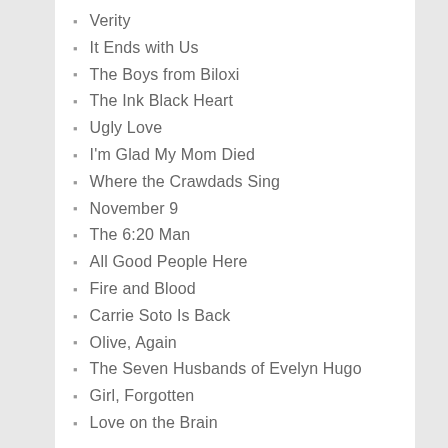Verity
It Ends with Us
The Boys from Biloxi
The Ink Black Heart
Ugly Love
I'm Glad My Mom Died
Where the Crawdads Sing
November 9
The 6:20 Man
All Good People Here
Fire and Blood
Carrie Soto Is Back
Olive, Again
The Seven Husbands of Evelyn Hugo
Girl, Forgotten
Love on the Brain